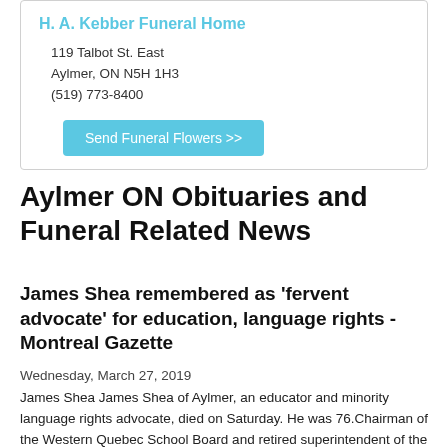H. A. Kebber Funeral Home
119 Talbot St. East
Aylmer, ON N5H 1H3
(519) 773-8400
Send Funeral Flowers >>
Aylmer ON Obituaries and Funeral Related News
James Shea remembered as 'fervent advocate' for education, language rights - Montreal Gazette
Wednesday, March 27, 2019
James Shea James Shea of Aylmer, an educator and minority language rights advocate, died on Saturday. He was 76.Chairman of the Western Quebec School Board and retired superintendent of the Ottawa Catholic School Board, Shea was also the former president of the Quebec